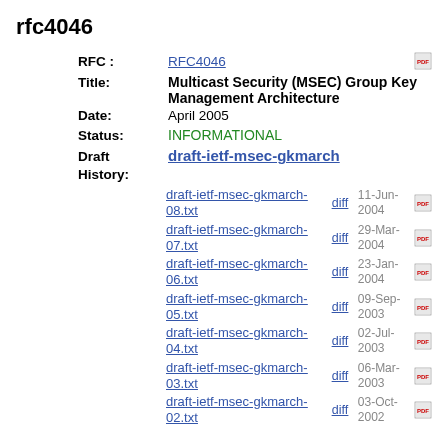rfc4046
RFC : RFC4046
Title: Multicast Security (MSEC) Group Key Management Architecture
Date: April 2005
Status: INFORMATIONAL
Draft History: draft-ietf-msec-gkmarch
draft-ietf-msec-gkmarch-08.txt  diff  11-Jun-2004
draft-ietf-msec-gkmarch-07.txt  diff  29-Mar-2004
draft-ietf-msec-gkmarch-06.txt  diff  23-Jan-2004
draft-ietf-msec-gkmarch-05.txt  diff  09-Sep-2003
draft-ietf-msec-gkmarch-04.txt  diff  02-Jul-2003
draft-ietf-msec-gkmarch-03.txt  diff  06-Mar-2003
draft-ietf-msec-gkmarch-02.txt  diff  03-Oct-2002